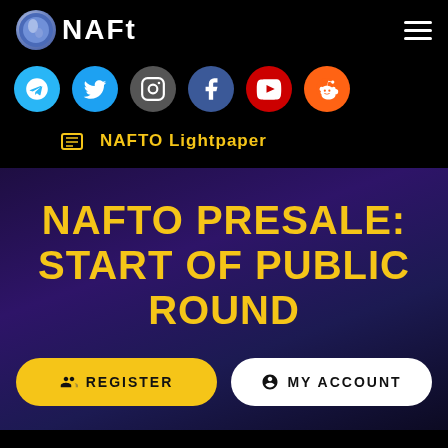[Figure (logo): NAFT logo with circular icon and white text]
[Figure (infographic): Social media icons row: Telegram, Twitter, Instagram, Facebook, YouTube, Reddit]
NAFTO Lightpaper
NAFTO PRESALE: START OF PUBLIC ROUND
REGISTER
MY ACCOUNT